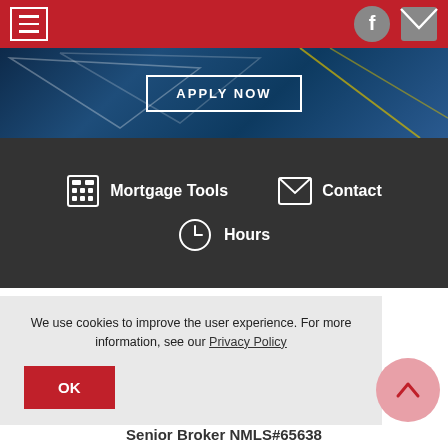Navigation header with hamburger menu, Facebook icon, and mail icon
[Figure (screenshot): Hero banner with blue geometric background and APPLY NOW button]
[Figure (infographic): Dark navigation bar with Mortgage Tools, Contact, and Hours icons]
[Figure (photo): Headshot of a man with grey hair against a dark background]
We use cookies to improve the user experience. For more information, see our Privacy Policy
OK
Senior Broker NMLS#65638